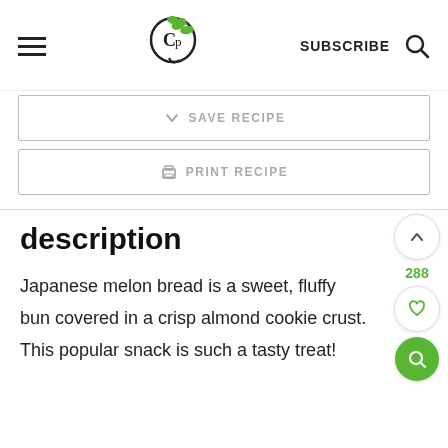SUBSCRIBE
SAVE RECIPE
PRINT RECIPE
description
Japanese melon bread is a sweet, fluffy bun covered in a crisp almond cookie crust. This popular snack is such a tasty treat!